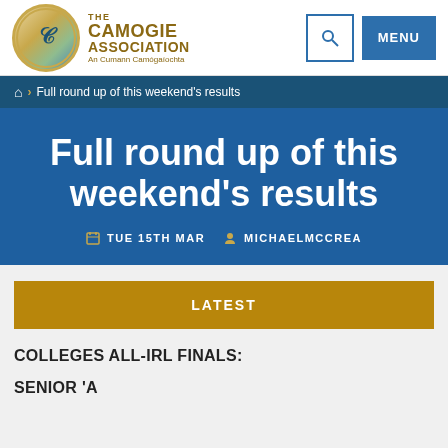[Figure (logo): The Camogie Association logo with circular emblem and text 'THE CAMOGIE ASSOCIATION An Cumann Camógaíochta']
THE CAMOGIE ASSOCIATION An Cumann Camógaíochta
Full round up of this weekend's results
Full round up of this weekend's results
TUE 15TH MAR  MICHAELMCCREA
LATEST
COLLEGES ALL-IRL FINALS:
SENIOR 'A